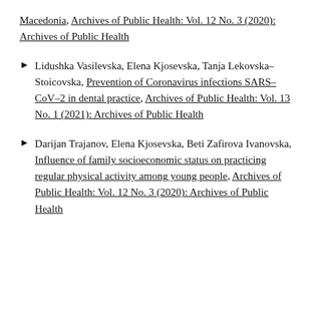Macedonia, Archives of Public Health: Vol. 12 No. 3 (2020): Archives of Public Health
Lidushka Vasilevska, Elena Kjosevska, Tanja Lekovska-Stoicovska, Prevention of Coronavirus infections SARS-CoV-2 in dental practice, Archives of Public Health: Vol. 13 No. 1 (2021): Archives of Public Health
Darijan Trajanov, Elena Kjosevska, Beti Zafirova Ivanovska, Influence of family socioeconomic status on practicing regular physical activity among young people, Archives of Public Health: Vol. 12 No. 3 (2020): Archives of Public Health